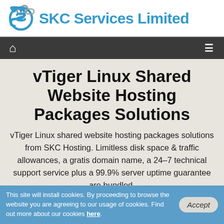SKC Services Limited
vTiger Linux Shared Website Hosting Packages Solutions
vTiger Linux shared website hosting packages solutions from SKC Hosting. Limitless disk space & traffic allowances, a gratis domain name, a 24-7 technical support service plus a 99.9% server uptime guarantee are bundled.
This site will install cookies. By proceeding to browse the website you are agreeing to our usage of cookies. Find out more about our cookies here.